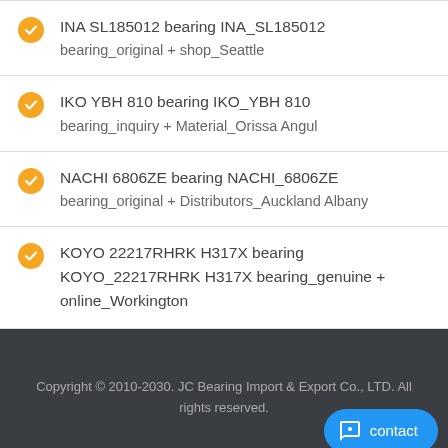INA SL185012 bearing INA_SL185012
bearing_original + shop_Seattle
IKO YBH 810 bearing IKO_YBH 810
bearing_inquiry + Material_Orissa Angul
NACHI 6806ZE bearing NACHI_6806ZE
bearing_original + Distributors_Auckland Albany
KOYO 22217RHRK H317X bearing KOYO_22217RHRK H317X bearing_genuine + online_Workington
Copyright © 2010-2030. JC Bearing Import & Export Co., LTD. All rights reserved.